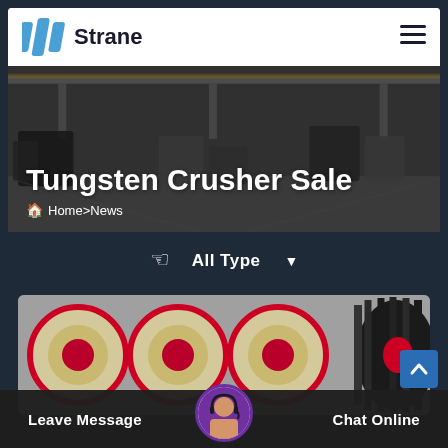Strane
[Figure (photo): Industrial factory floor with large machinery and overhead cranes]
Tungsten Crusher Sale
Home > News
All Type
[Figure (photo): Heavy duty jaw crusher machinery with red and black wheels]
Leave Message
Chat Online